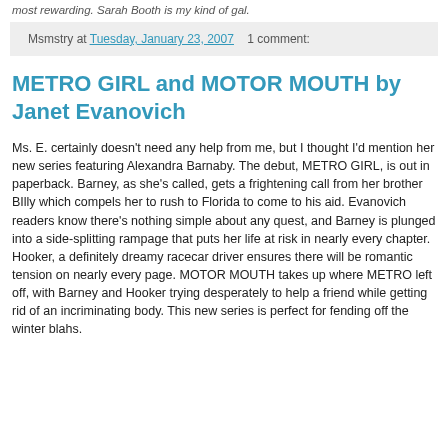most rewarding. Sarah Booth is my kind of gal.
Msmstry at Tuesday, January 23, 2007   1 comment:
METRO GIRL and MOTOR MOUTH by Janet Evanovich
Ms. E. certainly doesn't need any help from me, but I thought I'd mention her new series featuring Alexandra Barnaby. The debut, METRO GIRL, is out in paperback. Barney, as she's called, gets a frightening call from her brother BIlly which compels her to rush to Florida to come to his aid. Evanovich readers know there's nothing simple about any quest, and Barney is plunged into a side-splitting rampage that puts her life at risk in nearly every chapter. Hooker, a definitely dreamy racecar driver ensures there will be romantic tension on nearly every page. MOTOR MOUTH takes up where METRO left off, with Barney and Hooker trying desperately to help a friend while getting rid of an incriminating body. This new series is perfect for fending off the winter blahs.